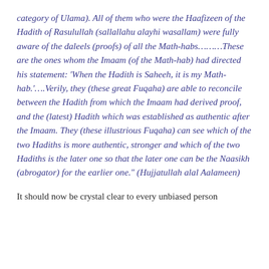category of Ulama). All of them who were the Haafizeen of the Hadith of Rasulullah (sallallahu alayhi wasallam) were fully aware of the daleels (proofs) of all the Math-habs………These are the ones whom the Imaam (of the Math-hab) had directed his statement: 'When the Hadith is Saheeh, it is my Math-hab.'….Verily, they (these great Fuqaha) are able to reconcile between the Hadith from which the Imaam had derived proof, and the (latest) Hadith which was established as authentic after the Imaam. They (these illustrious Fuqaha) can see which of the two Hadiths is more authentic, stronger and which of the two Hadiths is the later one so that the later one can be the Naasikh (abrogator) for the earlier one." (Hujjatullah alal Aalameen)
It should now be crystal clear to every unbiased person